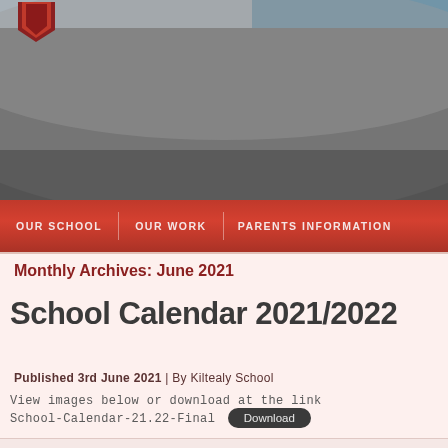[Figure (screenshot): School website header banner with gray curved background and school shield logo at top left, with blue/light banner strip at very top]
OUR SCHOOL | OUR WORK | PARENTS INFORMATION
Monthly Archives: June 2021
School Calendar 2021/2022
Published 3rd June 2021 | By Kiltealy School
View images below or download at the link School-Calendar-21.22-Final  Download